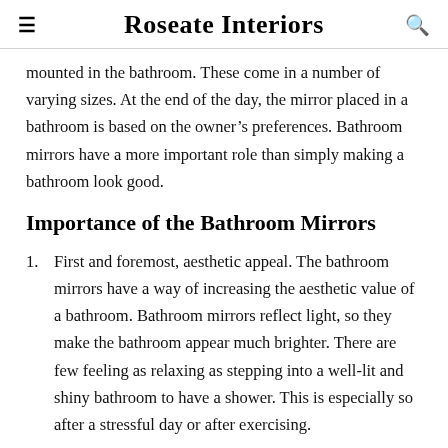Roseate Interiors
mounted in the bathroom. These come in a number of varying sizes. At the end of the day, the mirror placed in a bathroom is based on the owner's preferences. Bathroom mirrors have a more important role than simply making a bathroom look good.
Importance of the Bathroom Mirrors
First and foremost, aesthetic appeal. The bathroom mirrors have a way of increasing the aesthetic value of a bathroom. Bathroom mirrors reflect light, so they make the bathroom appear much brighter. There are few feeling as relaxing as stepping into a well-lit and shiny bathroom to have a shower. This is especially so after a stressful day or after exercising.